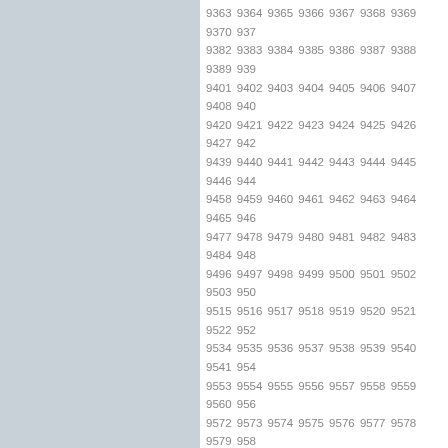9363 9364 9365 9366 9367 9368 9369 9370 937 9382 9383 9384 9385 9386 9387 9388 9389 939 9401 9402 9403 9404 9405 9406 9407 9408 940 9420 9421 9422 9423 9424 9425 9426 9427 942 9439 9440 9441 9442 9443 9444 9445 9446 944 9458 9459 9460 9461 9462 9463 9464 9465 946 9477 9478 9479 9480 9481 9482 9483 9484 948 9496 9497 9498 9499 9500 9501 9502 9503 950 9515 9516 9517 9518 9519 9520 9521 9522 952 9534 9535 9536 9537 9538 9539 9540 9541 954 9553 9554 9555 9556 9557 9558 9559 9560 956 9572 9573 9574 9575 9576 9577 9578 9579 958 9591 9592 9593 9594 9595 9596 9597 9598 959 9610 9611 9612 9613 9614 9615 9616 9617 961 9629 9630 9631 9632 9633 9634 9635 9636 963 9648 9649 9650 9651 9652 9653 9654 9655 965 9667 9668 9669 9670 9671 9672 9673 9674 967 9686 9687 9688 9689 9690 9691 9692 9693 969
| NICK / IMIĘ | WPIS |
| --- | --- |
| Xiomara
Skąd Montigny-Le-Bretonneux | Dodany: pią, 11
Love the web |
| Kristofer
Skąd Hippolytushoef | Dodany: pią, 11
You have got |